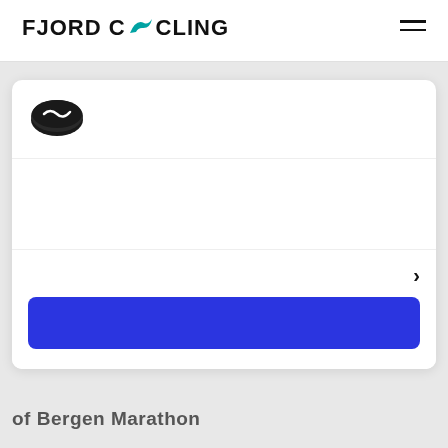FJORD CYCLING
[Figure (screenshot): Mobile web page screenshot of Fjord Cycling website showing a card UI with a coin/token icon, an empty white middle section, a right arrow chevron, a blue button, and partially visible text at the bottom reading 'of Bergen Marathon']